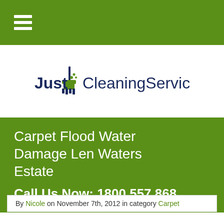Navigation menu bar with hamburger icon
[Figure (logo): Just Cleaning Services logo with broom and bucket icon, text in dark navy blue]
Carpet Flood Water Damage Len Waters Estate
Call Us Now: 1800 557 868
By Nicole on November 7th, 2012 in category Carpet